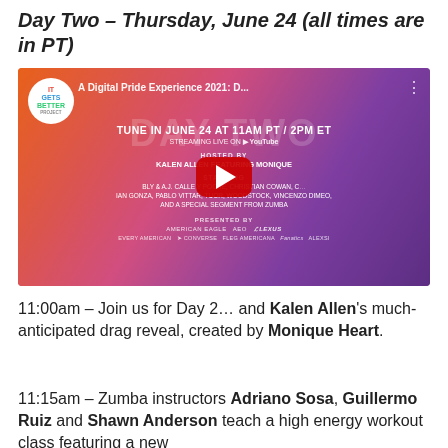Day Two – Thursday, June 24 (all times are in PT)
[Figure (screenshot): YouTube video thumbnail for 'A Digital Pride Experience 2021: D...' by It Gets Better Project. Shows event promotional graphic with orange/purple gradient, performers, and YouTube play button. Text includes: TUNE IN JUNE 24 AT 11AM PT / 2PM ET, Streaming Live on YouTube, Hosted by Kalen Allen featuring Monique, Starring Bly & A.J., Calle y Poché, Christian Cowan, Ian Gonza, Pablo Vittar, Tuor, Woodstock, Vincenzo Dimeo, and a special segment from Zumba. Presented by American Eagle, AEO, Lexus. Additional sponsors: Converse, Fanatics, Alessis.]
11:00am – Join us for Day 2… and Kalen Allen's much-anticipated drag reveal, created by Monique Heart.
11:15am – Zumba instructors Adriano Sosa, Guillermo Ruiz and Shawn Anderson teach a high energy workout class featuring a new…